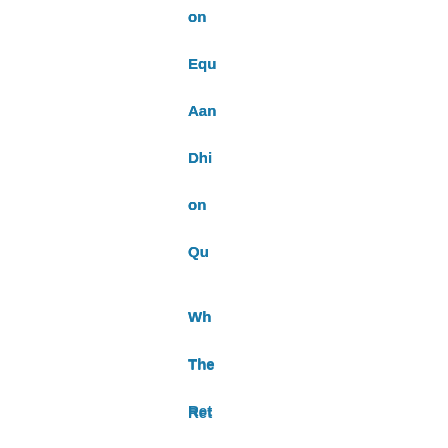on
Equ
Aan
Dhi
on
Qu
Wh
The
Ret
On
Equ
Kin
Kra
On
The
Bus
Cas
For
Boa
Div
Wh
The